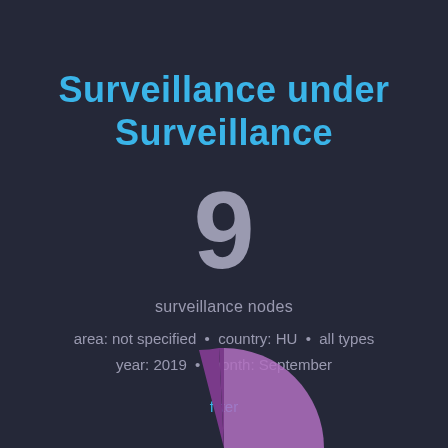Surveillance under Surveillance
9
surveillance nodes
area: not specified • country: HU • all types
year: 2019 • month: September
filter
[Figure (pie-chart): Partial pie/donut chart visible at bottom of page, showing a purple and violet slice, partially cropped]